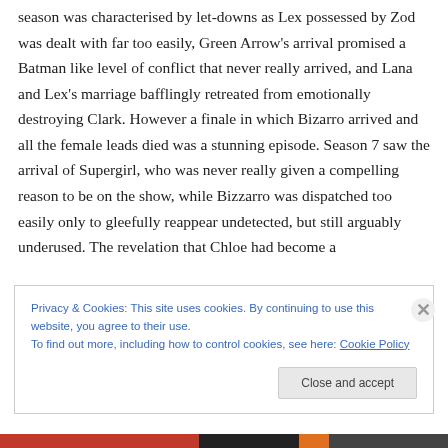season was characterised by let-downs as Lex possessed by Zod was dealt with far too easily, Green Arrow's arrival promised a Batman like level of conflict that never really arrived, and Lana and Lex's marriage bafflingly retreated from emotionally destroying Clark. However a finale in which Bizarro arrived and all the female leads died was a stunning episode. Season 7 saw the arrival of Supergirl, who was never really given a compelling reason to be on the show, while Bizzarro was dispatched too easily only to gleefully reappear undetected, but still arguably underused. The revelation that Chloe had become a
Privacy & Cookies: This site uses cookies. By continuing to use this website, you agree to their use.
To find out more, including how to control cookies, see here: Cookie Policy